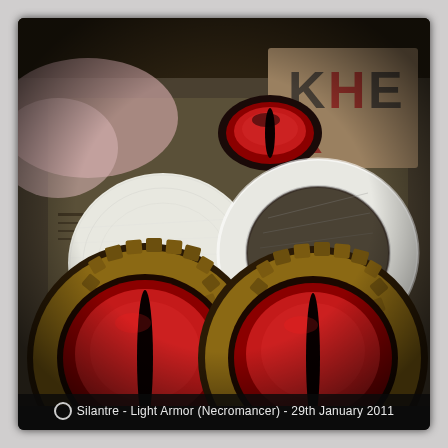[Figure (photo): Photograph showing crafting materials for a necromancer light armor costume piece. In the upper portion: a small red eye-shaped dome with a black vertical slit pupil, a large white foam disk, and a white foam ring with a reflective interior showing a newspaper background. In the lower portion: two completed decorative eye pieces with red iris, black vertical slit pupil, and gold/bronze segmented borders, arranged on newspaper. Background includes pink fabric, newspaper clippings, and a blue pen.]
Silantre - Light Armor (Necromancer) - 29th January 2011